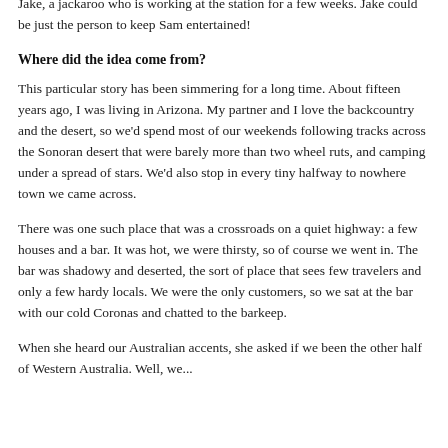Jake, a jackaroo who is working at the station for a few weeks. Jake could be just the person to keep Sam entertained!
Where did the idea come from?
This particular story has been simmering for a long time. About fifteen years ago, I was living in Arizona. My partner and I love the backcountry and the desert, so we'd spend most of our weekends following tracks across the Sonoran desert that were barely more than two wheel ruts, and camping under a spread of stars. We'd also stop in every tiny halfway to nowhere town we came across.
There was one such place that was a crossroads on a quiet highway: a few houses and a bar. It was hot, we were thirsty, so of course we went in. The bar was shadowy and deserted, the sort of place that sees few travelers and only a few hardy locals. We were the only customers, so we sat at the bar with our cold Coronas and chatted to the barkeep.
When she heard our Australian accents, she asked if we been the other half of Western Australia. Well, we...